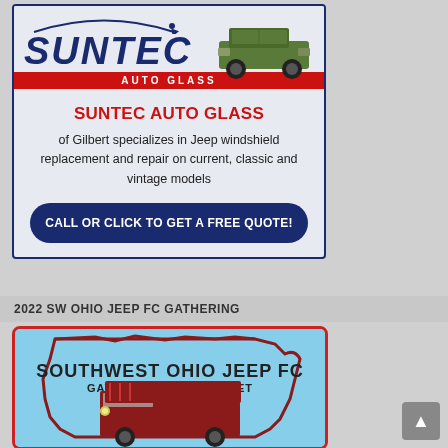[Figure (illustration): Suntec Auto Glass advertisement with logo featuring a military Jeep, red bar with AUTO GLASS text, red heading SUNTEC AUTO GLASS, body text about Gilbert specializing in Jeep windshield replacement, and a dark blue call-to-action button saying CALL OR CLICK TO GET A FREE QUOTE!]
2022 SW OHIO JEEP FC GATHERING
[Figure (illustration): Southwest Ohio Jeep FC Gathering & Swap Meet logo on light blue background shaped like Ohio state outline with red border, showing a red Forward Control Jeep FC vehicle]